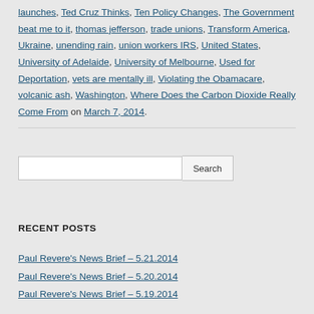launches, Ted Cruz Thinks, Ten Policy Changes, The Government beat me to it, thomas jefferson, trade unions, Transform America, Ukraine, unending rain, union workers IRS, United States, University of Adelaide, University of Melbourne, Used for Deportation, vets are mentally ill, Violating the Obamacare, volcanic ash, Washington, Where Does the Carbon Dioxide Really Come From on March 7, 2014.
Search
RECENT POSTS
Paul Revere's News Brief – 5.21.2014
Paul Revere's News Brief – 5.20.2014
Paul Revere's News Brief – 5.19.2014